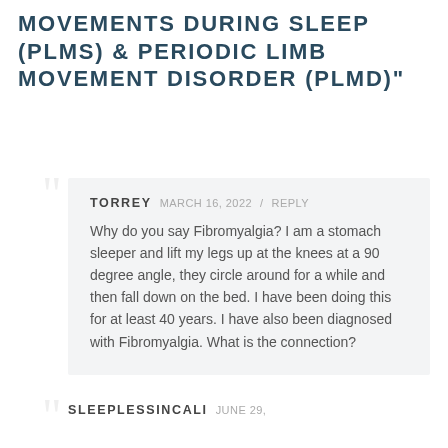MOVEMENTS DURING SLEEP (PLMS) & PERIODIC LIMB MOVEMENT DISORDER (PLMD)"
TORREY   MARCH 16, 2022 / REPLY
Why do you say Fibromyalgia? I am a stomach sleeper and lift my legs up at the knees at a 90 degree angle, they circle around for a while and then fall down on the bed. I have been doing this for at least 40 years. I have also been diagnosed with Fibromyalgia. What is the connection?
SLEEPLESSINCALI   JUNE 29,